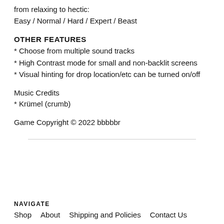from relaxing to hectic:
Easy / Normal / Hard / Expert / Beast
OTHER FEATURES
* Choose from multiple sound tracks
* High Contrast mode for small and non-backlit screens
* Visual hinting for drop location/etc can be turned on/off
Music Credits
* Krümel (crumb)
Game Copyright © 2022 bbbbbr
NAVIGATE  Shop  About  Shipping and Policies  Contact Us